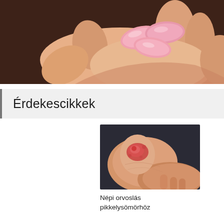[Figure (photo): A hand held open with pink oval pills/tablets resting on the palm, dark blurred background.]
Érdekescikkek
[Figure (photo): Close-up of an elbow with a psoriasis skin lesion, reddish inflamed patch visible.]
Népi orvoslás pikkelysömörhöz
[Figure (photo): Close-up of skin with small red spots/dots, appears to show a rash or skin condition.]